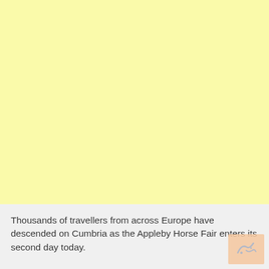[Figure (photo): Large light yellow/cream colored image placeholder area occupying the top portion of the page]
Thousands of travellers from across Europe have descended on Cumbria as the Appleby Horse Fair enters its second day today.